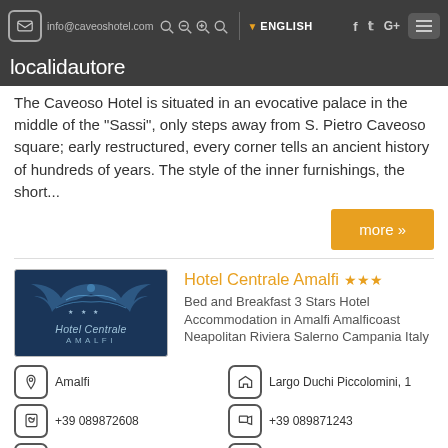info@caveoshotel.com | ENGLISH | f | twitter | G+
localidautore
The Caveoso Hotel is situated in an evocative palace in the middle of the "Sassi", only steps away from S. Pietro Caveoso square; early restructured, every corner tells an ancient history of hundreds of years. The style of the inner furnishings, the short...
more »
Hotel Centrale Amalfi ★★★
Bed and Breakfast 3 Stars Hotel Accommodation in Amalfi Amalficoast Neapolitan Riviera Salerno Campania Italy
Amalfi
Largo Duchi Piccolomini, 1
+39 089872608
+39 089871243
www.amalfihotelcentrale.it
info@amalfihotelce...
Completely renovated in 2002, the Hotel Centrale is located in a